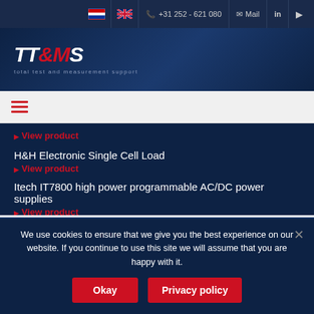+31 252 - 621 080 | Mail
[Figure (logo): TT&MS logo — total test and measurement support]
[Figure (other): Hamburger menu icon]
▶ View product
H&H Electronic Single Cell Load
▶ View product
Itech IT7800 high power programmable AC/DC power supplies
▶ View product
We use cookies to ensure that we give you the best experience on our website. If you continue to use this site we will assume that you are happy with it.